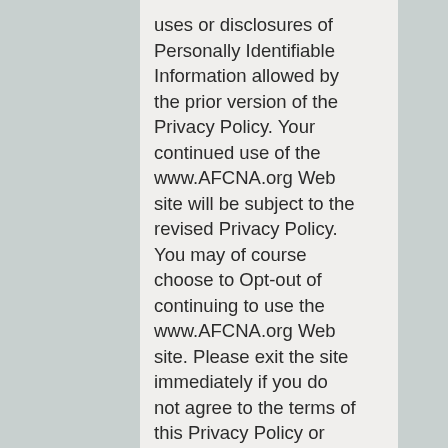uses or disclosures of Personally Identifiable Information allowed by the prior version of the Privacy Policy. Your continued use of the www.AFCNA.org Web site will be subject to the revised Privacy Policy. You may of course choose to Opt-out of continuing to use the www.AFCNA.org Web site. Please exit the site immediately if you do not agree to the terms of this Privacy Policy or any revised policy. www.AFCNA.org reserves the right to